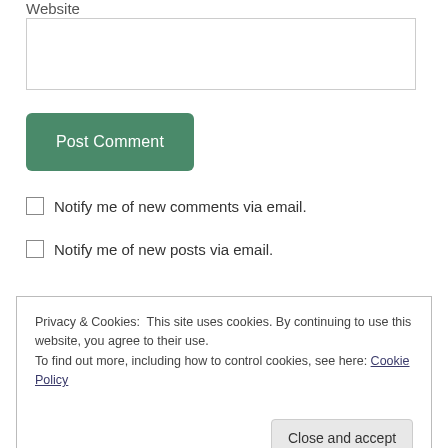Website
[Figure (other): Empty text input field for website URL]
Post Comment
Notify me of new comments via email.
Notify me of new posts via email.
Privacy & Cookies: This site uses cookies. By continuing to use this website, you agree to their use. To find out more, including how to control cookies, see here: Cookie Policy
Close and accept